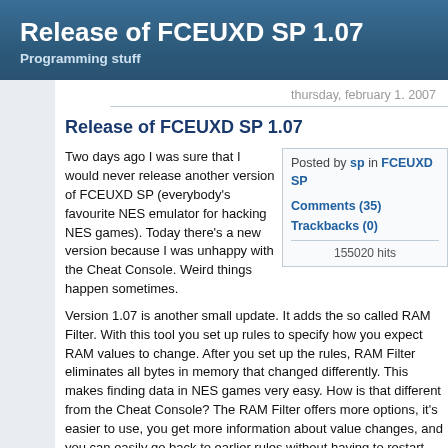Release of FCEUXD SP 1.07
Programming stuff
thursday, february 1. 2007
Release of FCEUXD SP 1.07
Posted by sp in FCEUXD SP
Comments (35)
Trackbacks (0)
155020 hits
Two days ago I was sure that I would never release another version of FCEUXD SP (everybody's favourite NES emulator for hacking NES games). Today there's a new version because I was unhappy with the Cheat Console. Weird things happen sometimes.
Version 1.07 is another small update. It adds the so called RAM Filter. With this tool you set up rules to specify how you expect RAM values to change. After you set up the rules, RAM Filter eliminates all bytes in memory that changed differently. This makes finding data in NES games very easy. How is that different from the Cheat Console? The RAM Filter offers more options, it's easier to use, you get more information about value changes, and you can easily go back to earlier rules without having to restart everything.
Let me give you two examples.
In the first example we want to find out where the game Faxanadu stores the player's health points in RAM. Check this screenshot to see how I used the RAM Filter tool.